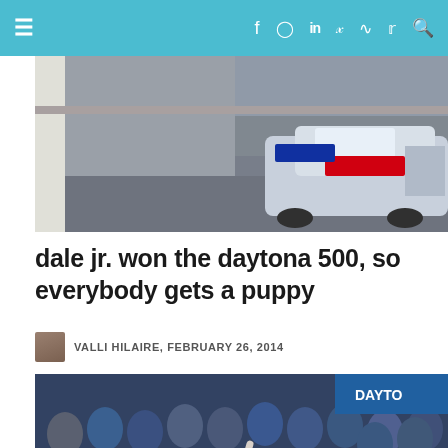Navigation bar with hamburger menu and social icons: facebook, instagram, linkedin, pinterest, rss, twitter, search
[Figure (photo): Top partial photo showing a NASCAR race car on pit road or a track area, partially visible]
dale jr. won the daytona 500, so everybody gets a puppy
VALLI HILAIRE, FEBRUARY 26, 2014
[Figure (photo): Group victory photo of Dale Jr. and his racing team celebrating the Daytona 500 win, with the Daytona 500 trophy visible in the foreground, everyone raising index fingers in a #1 gesture]